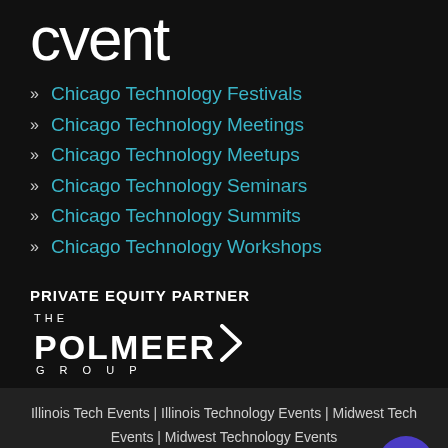[Figure (logo): Cvent logo in white text on dark background]
Chicago Technology Festivals
Chicago Technology Meetings
Chicago Technology Meetups
Chicago Technology Seminars
Chicago Technology Summits
Chicago Technology Workshops
PRIVATE EQUITY PARTNER
[Figure (logo): The Polmeer Group logo in white text on dark background]
Illinois Tech Events | Illinois Technology Events | Midwest Tech Events | Midwest Technology Events
©2014-2022 TECSHPO, LLC. TECHSPO® and TECHSPO Chicago® are trademarks owned by TECHSPO, LLC.